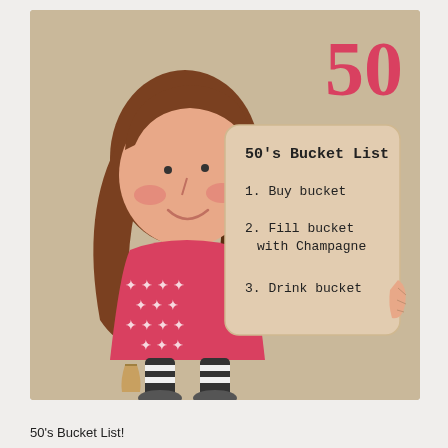[Figure (illustration): A greeting card illustration on a tan/beige background showing a cartoon girl with long brown hair, rosy cheeks, wearing a red dress with white stars and striped socks. She holds a sign/card listing '50's Bucket List' with three items. A large red '50' appears in the top right corner.]
50's Bucket List!